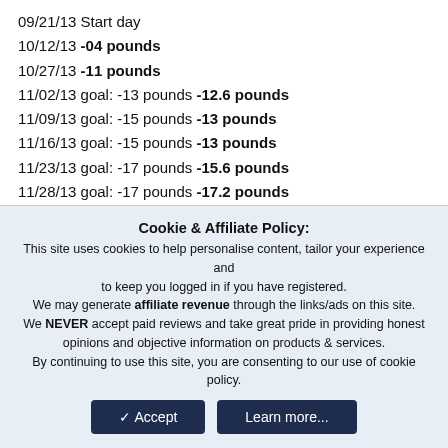09/21/13 Start day
10/12/13 -04 pounds
10/27/13 -11 pounds
11/02/13 goal: -13 pounds -12.6 pounds
11/09/13 goal: -15 pounds -13 pounds
11/16/13 goal: -15 pounds -13 pounds
11/23/13 goal: -17 pounds -15.6 pounds
11/28/13 goal: -17 pounds -17.2 pounds
02/24/14 -23.3 pounds
03/07/14 goal: -27 pounds
03/20/14 Spring Break goal: -30 pounds
Cookie & Affiliate Policy: This site uses cookies to help personalise content, tailor your experience and to keep you logged in if you have registered. We may generate affiliate revenue through the links/ads on this site. We NEVER accept paid reviews and take great pride in providing honest opinions and objective information on products & services. By continuing to use this site, you are consenting to our use of cookie policy.